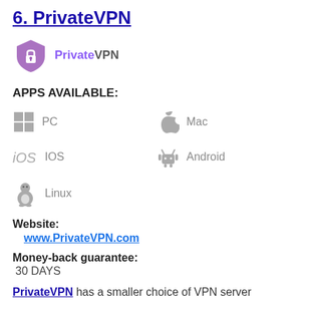6. PrivateVPN
[Figure (logo): PrivateVPN logo: purple shield with lock icon, text 'PrivateVPN']
APPS AVAILABLE:
PC
Mac
IOS
Android
Linux
Website:
www.PrivateVPN.com
Money-back guarantee:
30 DAYS
PrivateVPN has a smaller choice of VPN server